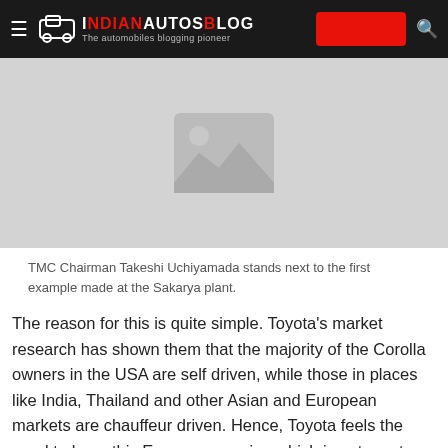IndianAutosBlog — The automobiles blogging pioneer
[Figure (photo): Placeholder image showing a mountain/landscape icon on a grey background — image not loaded]
TMC Chairman Takeshi Uchiyamada stands next to the first example made at the Sakarya plant.
The reason for this is quite simple. Toyota's market research has shown them that the majority of the Corolla owners in the USA are self driven, while those in places like India, Thailand and other Asian and European markets are chauffeur driven. Hence, Toyota feels the need to have this European version which is not sporty looking, but looks premium and upmarket instead.